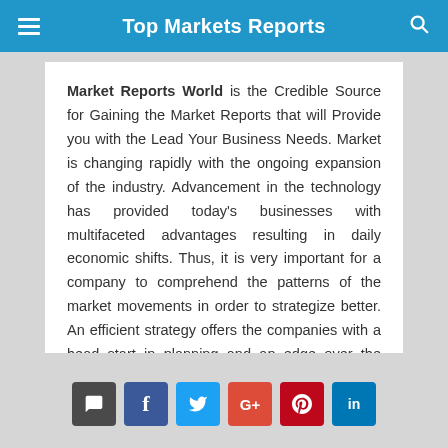Top Markets Reports
Market Reports World is the Credible Source for Gaining the Market Reports that will Provide you with the Lead Your Business Needs. Market is changing rapidly with the ongoing expansion of the industry. Advancement in the technology has provided today's businesses with multifaceted advantages resulting in daily economic shifts. Thus, it is very important for a company to comprehend the patterns of the market movements in order to strategize better. An efficient strategy offers the companies with a head start in planning and an edge over the competitors.
CONTACT US